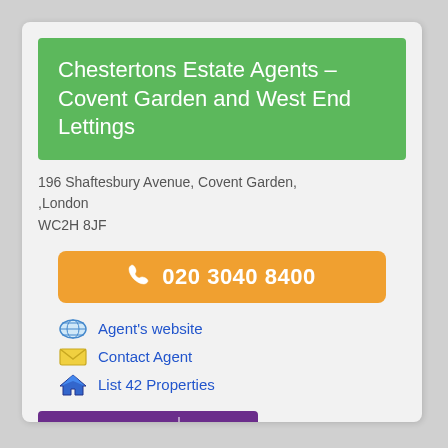Chestertons Estate Agents – Covent Garden and West End Lettings
196 Shaftesbury Avenue, Covent Garden, ,London WC2H 8JF
020 3040 8400
Agent's website
Contact Agent
List 42 Properties
[Figure (logo): Chestertons logo on purple background]